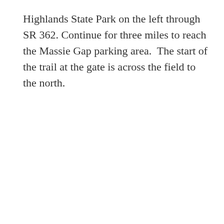Highlands State Park on the left through SR 362. Continue for three miles to reach the Massie Gap parking area.  The start of the trail at the gate is across the field to the north.